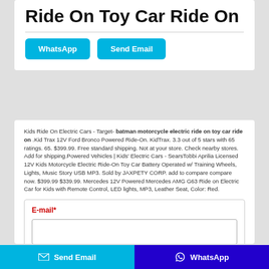Ride On Toy Car Ride On
Kids Ride On Electric Cars - Target- batman motorcycle electric ride on toy car ride on .Kid Trax 12V Ford Bronco Powered Ride-On. KidTrax. 3.3 out of 5 stars with 65 ratings. 65. $399.99. Free standard shipping. Not at your store. Check nearby stores. Add for shipping.Powered Vehicles | Kids' Electric Cars - SearsTobbi Aprilia Licensed 12V Kids Motorcycle Electric Ride-On Toy Car Battery Operated w/ Training Wheels, Lights, Music Story USB MP3. Sold by JAXPETY CORP. add to compare compare now. $399.99 $339.99. Mercedes 12V Powered Mercedes AMG G63 Ride on Electric Car for Kids with Remote Control, LED lights, MP3, Leather Seat, Color: Red.
E-mail*
Name*